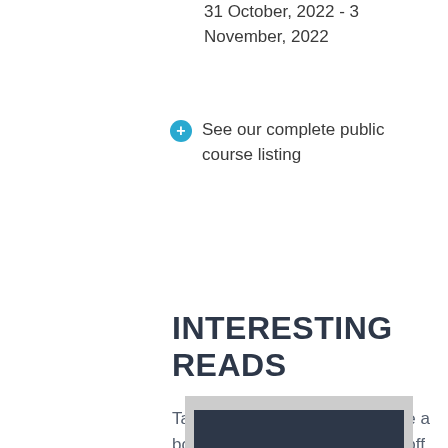31 October, 2022 - 3 November, 2022
See our complete public course listing
INTERESTING READS
Take a class with us and receive a book of your choosing for 50% off MSRP.
[Figure (photo): Book cover image shown partially at bottom of page]